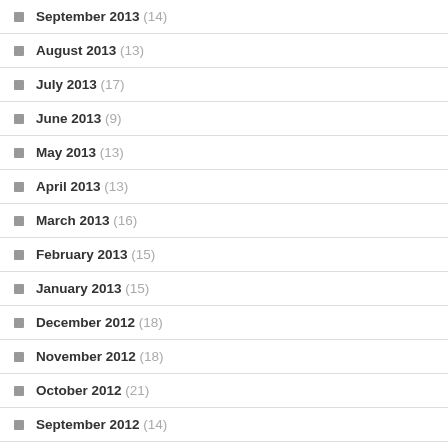September 2013 (14)
August 2013 (13)
July 2013 (17)
June 2013 (9)
May 2013 (13)
April 2013 (13)
March 2013 (16)
February 2013 (15)
January 2013 (15)
December 2012 (18)
November 2012 (18)
October 2012 (21)
September 2012 (14)
August 2012 (16)
July 2012 (21)